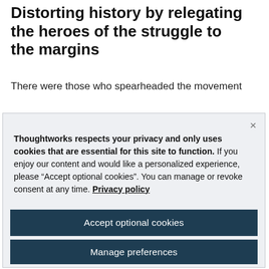Distorting history by relegating the heroes of the struggle to the margins
There were those who spearheaded the movement
Thoughtworks respects your privacy and only uses cookies that are essential for this site to function. If you enjoy our content and would like a personalized experience, please “Accept optional cookies”. You can manage or revoke consent at any time. Privacy policy
Accept optional cookies
Manage preferences